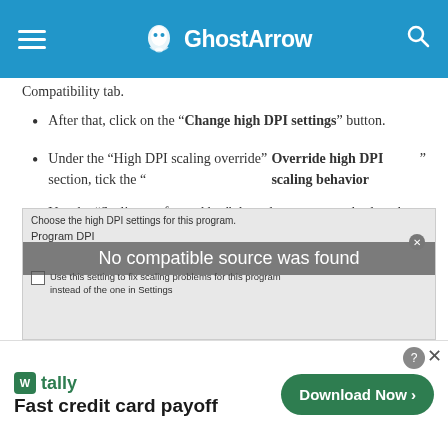GhostArrow
Compatibility tab.
After that, click on the “Change high DPI settings” button.
Under the “High DPI scaling override” section, tick the “Override high DPI scaling behavior”
Use the “Scaling performed by:” drop-down menu and select the “Application”
Click on the OK and again OK.
[Figure (screenshot): Screenshot of High DPI settings dialog showing Program DPI section with checkbox 'Use this setting to fix scaling problems for this program instead of the one in Settings'. Overlay text reads 'No compatible source was found'.]
[Figure (other): Tally advertisement banner: 'Fast credit card payoff' with Download Now button]